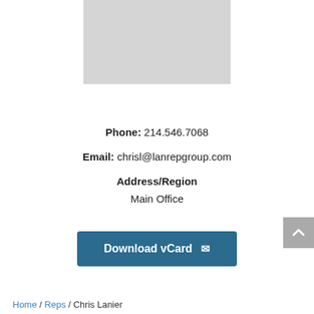[Figure (photo): Profile photo placeholder area, light gray rectangle]
Phone: 214.546.7068
Email: chrisl@lanrepgroup.com
Address/Region
Main Office
Download vCard ✉
Home / Reps / Chris Lanier